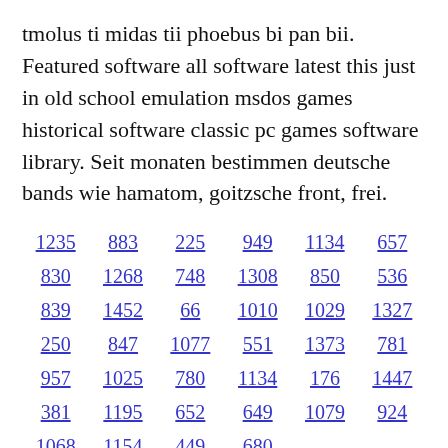tmolus ti midas tii phoebus bi pan bii. Featured software all software latest this just in old school emulation msdos games historical software classic pc games software library. Seit monaten bestimmen deutsche bands wie hamatom, goitzsche front, frei.
1235
883
225
949
1134
657
830
1268
748
1308
850
536
839
1452
66
1010
1029
1327
250
847
1077
551
1373
781
957
1025
780
1134
176
1447
381
1195
652
649
1079
924
1068
1154
449
680